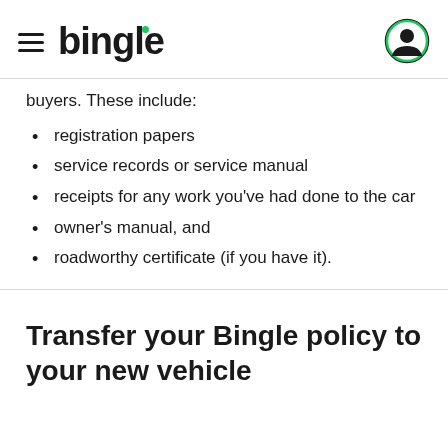bingle
buyers. These include:
registration papers
service records or service manual
receipts for any work you've had done to the car
owner's manual, and
roadworthy certificate (if you have it).
Transfer your Bingle policy to your new vehicle